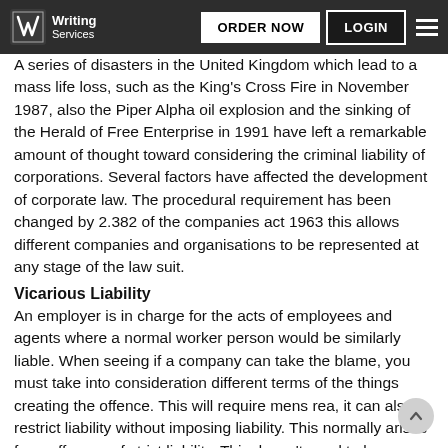Writing Services | ORDER NOW | LOGIN
A series of disasters in the United Kingdom which lead to a mass life loss, such as the King's Cross Fire in November 1987, also the Piper Alpha oil explosion and the sinking of the Herald of Free Enterprise in 1991 have left a remarkable amount of thought toward considering the criminal liability of corporations. Several factors have affected the development of corporate law. The procedural requirement has been changed by 2.382 of the companies act 1963 this allows different companies and organisations to be represented at any stage of the law suit.
Vicarious Liability
An employer is in charge for the acts of employees and agents where a normal worker person would be similarly liable. When seeing if a company can take the blame, you must take into consideration different terms of the things creating the offence. This will require mens rea, it can also restrict liability without imposing liability. This normally arises from offences of strict liability. This doesn't need to be intentional or recklessness just needs one or more elements in the actus reus.
Corporate Liability Offences Requiring Mens Rea
As noted, companies are legal persons. They can also be criminally responsible for multiples offences requiring mens rea